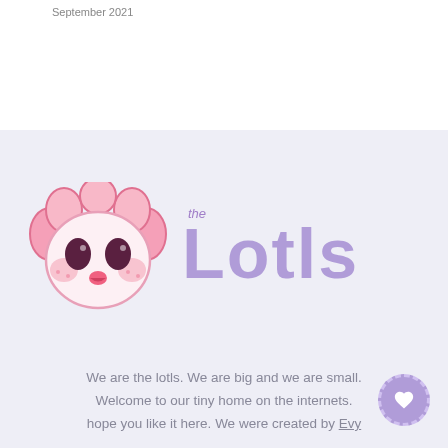September 2021
[Figure (illustration): Kawaii axolotl character with pink petal-like gills and 'the Lotls' purple text logo]
We are the lotls. We are big and we are small. Welcome to our tiny home on the internets. hope you like it here. We were created by Evy